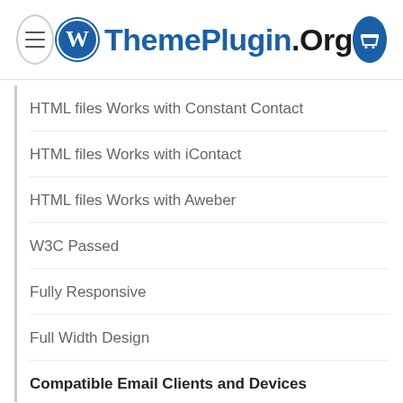ThemePlugin.Org
HTML files Works with Constant Contact
HTML files Works with iContact
HTML files Works with Aweber
W3C Passed
Fully Responsive
Full Width Design
Compatible Email Clients and Devices